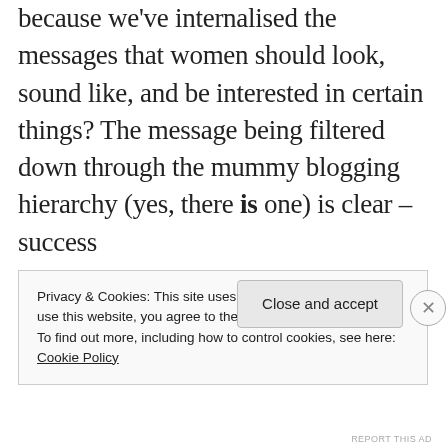because we've internalised the messages that women should look, sound like, and be interested in certain things? The message being filtered down through the mummy blogging hierarchy (yes, there is one) is clear – success
Privacy & Cookies: This site uses cookies. By continuing to use this website, you agree to their use.
To find out more, including how to control cookies, see here: Cookie Policy
Close and accept